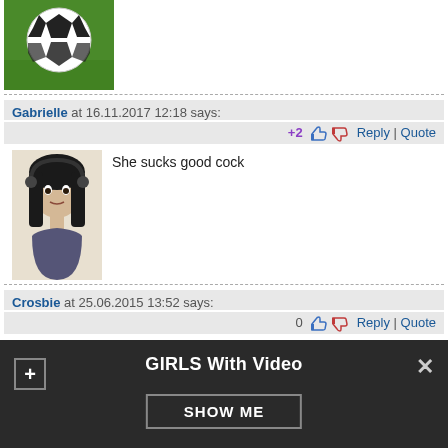[Figure (photo): Soccer ball on green grass, user avatar]
Gabrielle at 16.11.2017 12:18 says:
+2 Reply | Quote
[Figure (illustration): Anime-style dark-haired female character avatar]
She sucks good cock
Crosbie at 25.06.2015 13:52 says:
0 Reply | Quote
[Figure (photo): Cyborg/robot villain face with glowing red eye avatar]
...terrible...
GIRLS With Video
SHOW ME